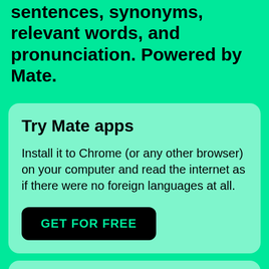sentences, synonyms, relevant words, and pronunciation. Powered by Mate.
Try Mate apps
Install it to Chrome (or any other browser) on your computer and read the internet as if there were no foreign languages at all.
GET FOR FREE